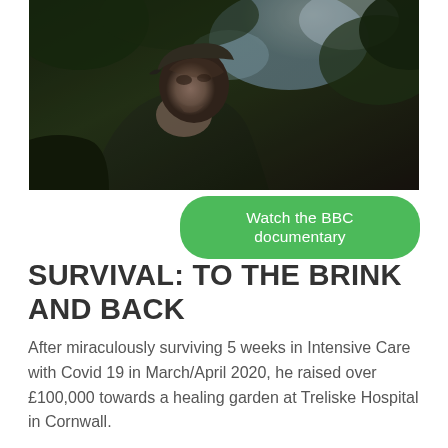[Figure (photo): Elderly man wearing a flat cap, looking upward, with trees and sky in background. Dark, moody outdoor scene.]
Watch the BBC documentary
SURVIVAL: TO THE BRINK AND BACK
After miraculously surviving 5 weeks in Intensive Care with Covid 19 in March/April 2020, he raised over £100,000 towards a healing garden at Treliske Hospital in Cornwall.